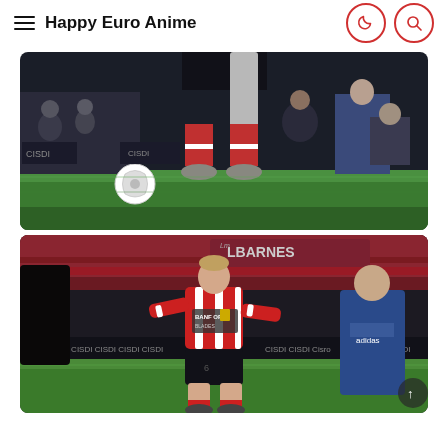Happy Euro Anime
[Figure (photo): Football/soccer player in red and white striped Sheffield United kit controlling a ball near the touchline, with CISDI advertising boards visible and spectators in background. Night match.]
[Figure (photo): Sheffield United footballer in red and white striped jersey running on pitch with CISDI advertising boards behind him and a man in blue jacket (coach/official) standing to the right. BARNES sponsor visible in background stand. Night match.]